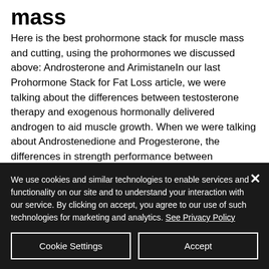mass
Here is the best prohormone stack for muscle mass and cutting, using the prohormones we discussed above: Androsterone and ArimistaneIn our last Prohormone Stack for Fat Loss article, we were talking about the differences between testosterone therapy and exogenous hormonally delivered androgen to aid muscle growth. When we were talking about Androstenedione and Progesterone, the differences in strength performance between
We use cookies and similar technologies to enable services and functionality on our site and to understand your interaction with our service. By clicking on accept, you agree to our use of such technologies for marketing and analytics. See Privacy Policy
Cookie Settings
Accept